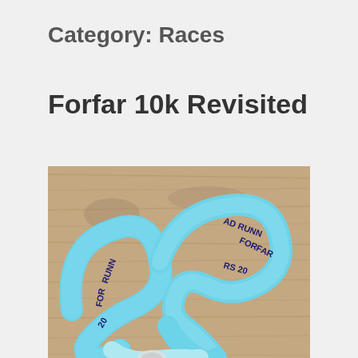Category: Races
Forfar 10k Revisited
[Figure (photo): A light blue race medal ribbon/lanyard coiled on a wooden surface. The ribbon has dark navy blue text reading 'FORFAR RUNNERS' and '20' visible in various places as the ribbon loops around itself.]